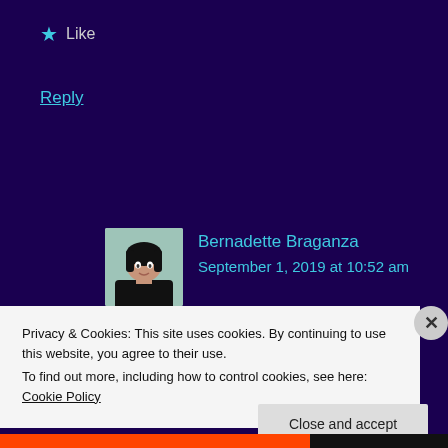★ Like
Reply
[Figure (illustration): Avatar of Bernadette Braganza — a cartoon woman with dark hair and dark top against a teal/mint background]
Bernadette Braganza
September 1, 2019 at 10:52 am
Oh, that would have ‘blown away’ their plans.
Privacy & Cookies: This site uses cookies. By continuing to use this website, you agree to their use.
To find out more, including how to control cookies, see here: Cookie Policy
Close and accept